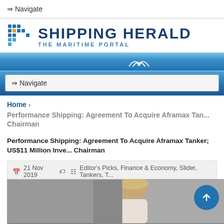⇒ Navigate
[Figure (logo): Shipping Herald - The Maritime Portal logo with grid/dot icon]
⇒ Navigate
Home > Performance Shipping: Agreement To Acquire Aframax Tan... Chairman
Performance Shipping: Agreement To Acquire Aframax Tanker; US$11 Million Inve... Chairman
21 Nov 2019  Editor's Picks, Finance & Economy, Slider, Tankers, T...
[Figure (photo): Partial photo of a person with blonde hair, cropped at bottom of page]